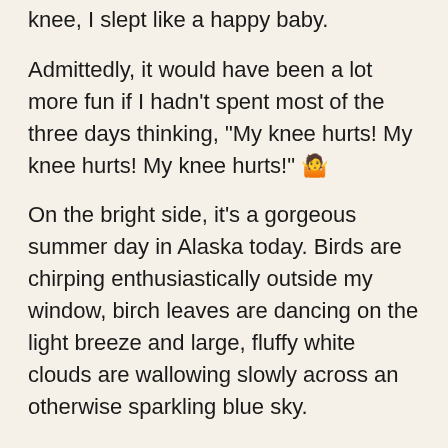knee, I slept like a happy baby.
Admittedly, it would have been a lot more fun if I hadn't spent most of the three days thinking, “My knee hurts! My knee hurts! My knee hurts!” 🤷
On the bright side, it's a gorgeous summer day in Alaska today. Birds are chirping enthusiastically outside my window, birch leaves are dancing on the light breeze and large, fluffy white clouds are wallowing slowly across an otherwise sparkling blue sky.
It rained last night, so everything looks and smells wonderfully fresh and bright. Wildflowers are blooming in delightful abundance, helping to scent the air with wild rose and Alaskan geranium, among